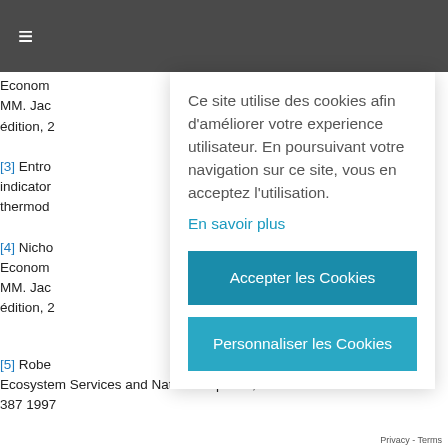≡
Econom
MM. Jac
édition, 2
[3] Entro   indicator   thermod
[4] Nicho
Econom
MM. Jac
édition, 2
[5] Robe
Ecosystem Services and Natural Capital », Nature nu
387  1997
Ce site utilise des cookies afin d'améliorer votre experience utilisateur. En poursuivant votre navigation sur ce site, vous en acceptez l'utilisation.
En savoir plus
Accepter les Cookies
Personnaliser les Cookies
Privacy - Terms